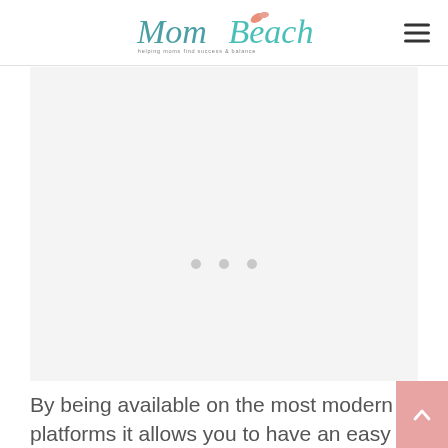Mom Beach — helping moms find success & balance
[Figure (other): Gray placeholder ad area with three gray dots in the center and a blue accessibility icon (wheelchair person in circle) in the lower right]
By being available on the most modern of platforms it allows you to have an easy to